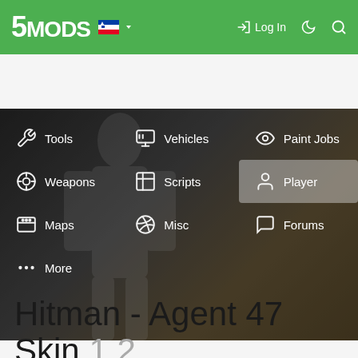[Figure (screenshot): 5MODS website navigation bar with green background showing logo, Slovenian flag, language selector, Log In button, dark mode and search icons]
[Figure (screenshot): 5MODS website dropdown menu overlaid on a dark blurred background showing menu items: Tools, Weapons, Maps, More (left column), Vehicles, Scripts, Misc (middle column), Paint Jobs, Player (highlighted), Forums (right column)]
Hitman - Agent 47 Skin 1.2